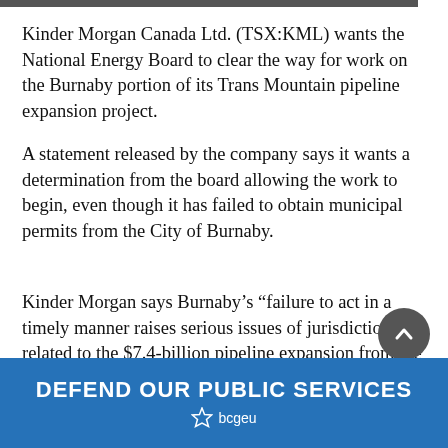[Figure (other): Dark grey top bar strip at top of page]
Kinder Morgan Canada Ltd. (TSX:KML) wants the National Energy Board to clear the way for work on the Burnaby portion of its Trans Mountain pipeline expansion project.
A statement released by the company says it wants a determination from the board allowing the work to begin, even though it has failed to obtain municipal permits from the City of Burnaby.
Kinder Morgan says Burnaby’s “failure to act in a timely manner raises serious issues of jurisdiction” related to the $7.4-billion pipeline expansion from the Edmonton-area to a tank farm and port in Burnaby.
[Figure (other): Circular scroll-to-top button with upward chevron arrow, dark grey]
[Figure (logo): BCGEU ad banner: blue background with white bold text DEFEND OUR PUBLIC SERVICES and bcgeu logo with star icon]